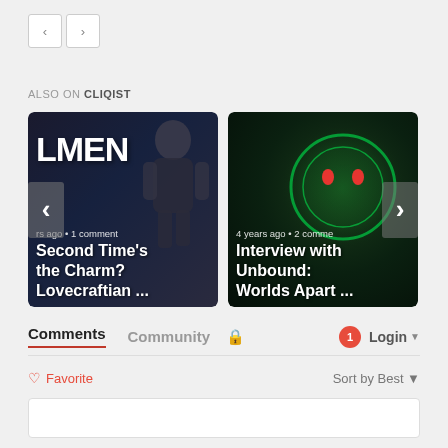[Figure (screenshot): Navigation back/forward buttons (left arrow, right arrow) in white boxes with gray borders]
ALSO ON CLIQIST
[Figure (screenshot): Card 1: Dark background with LMEN text and armored figure silhouette. Meta: 'rs ago • 1 comment'. Title: 'Second Time's the Charm? Lovecraftian ...' with left arrow navigation.]
[Figure (screenshot): Card 2: Dark green background with glowing green orb. Meta: '4 years ago • 2 comme'. Title: 'Interview with Unbound: Worlds Apart ...' with right arrow navigation.]
Comments  Community  🔒  1  Login ▾
♡ Favorite
Sort by Best ▾